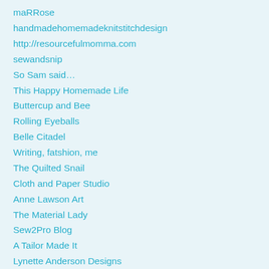maRRose
handmadehomemadeknitstitchdesign
http://resourcefulmomma.com
sewandsnip
So Sam said…
This Happy Homemade Life
Buttercup and Bee
Rolling Eyeballs
Belle Citadel
Writing, fatshion, me
The Quilted Snail
Cloth and Paper Studio
Anne Lawson Art
The Material Lady
Sew2Pro Blog
A Tailor Made It
Lynette Anderson Designs
thecraftycreek